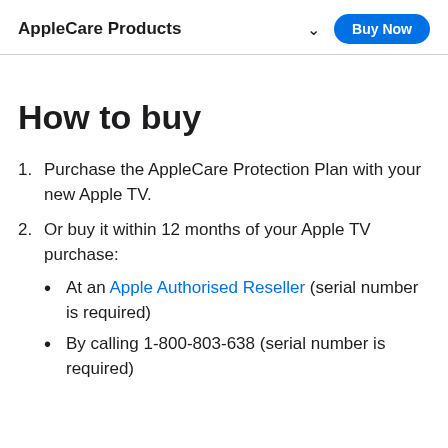AppleCare Products  ∨  Buy Now
How to buy
1. Purchase the AppleCare Protection Plan with your new Apple TV.
2. Or buy it within 12 months of your Apple TV purchase:
• At an Apple Authorised Reseller (serial number is required)
• By calling 1-800-803-638 (serial number is required)